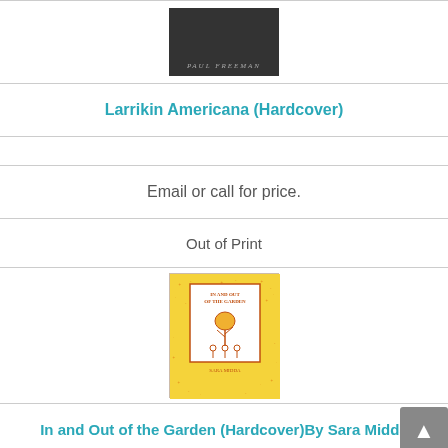[Figure (photo): Partial view of a dark book cover with author name Paul Freeman at bottom]
Larrikin Americana (Hardcover)
Email or call for price.
Out of Print
[Figure (photo): Book cover of 'In and Out of the Garden' by Sara Midda — yellow cover with botanical illustrations and a red inner border box]
In and Out of the Garden (Hardcover) By Sara Midda